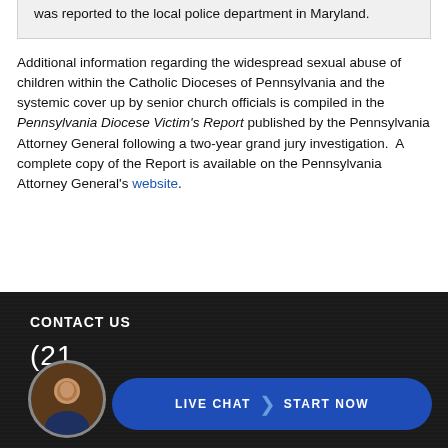was reported to the local police department in Maryland.
Additional information regarding the widespread sexual abuse of children within the Catholic Dioceses of Pennsylvania and the systemic cover up by senior church officials is compiled in the Pennsylvania Diocese Victim's Report published by the Pennsylvania Attorney General following a two-year grand jury investigation.  A complete copy of the Report is available on the Pennsylvania Attorney General's website.
CONTACT US
(21...
[Figure (other): Live Chat button with portrait photo of a man in a suit. Button reads LIVE CHAT > START NOW on blue rounded rectangle background.]